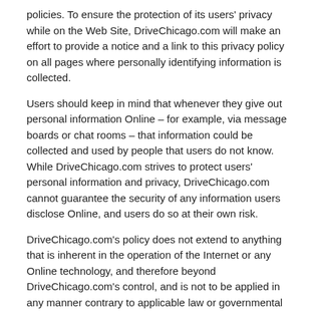policies. To ensure the protection of its users' privacy while on the Web Site, DriveChicago.com will make an effort to provide a notice and a link to this privacy policy on all pages where personally identifying information is collected.
Users should keep in mind that whenever they give out personal information Online – for example, via message boards or chat rooms – that information could be collected and used by people that users do not know. While DriveChicago.com strives to protect users' personal information and privacy, DriveChicago.com cannot guarantee the security of any information users disclose Online, and users do so at their own risk.
DriveChicago.com's policy does not extend to anything that is inherent in the operation of the Internet or any Online technology, and therefore beyond DriveChicago.com's control, and is not to be applied in any manner contrary to applicable law or governmental regulation
DriveChicago.com DOES NOT KNOWINGLY COLLECT INFORMATION FROM CHILDREN THIRTEEN (13) YEARS OF AGE OR YOUNGER.
DriveChicago.com does not knowingly collect information from children thirteen (13) years of age or younger. If you are under thirteen (13), do not send any information about yourself to DriveChicago.com, including